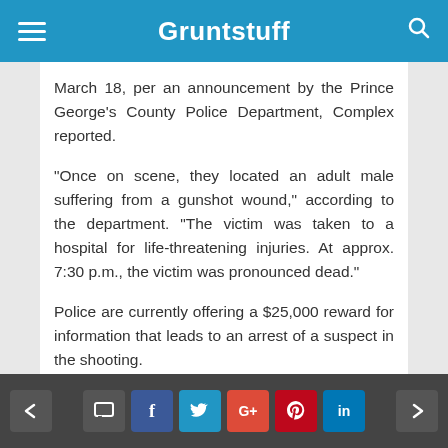Gruntstuff
March 18, per an announcement by the Prince George's County Police Department, Complex reported.
“Once on scene, they located an adult male suffering from a gunshot wound,” according to the department. “The victim was taken to a hospital for life-threatening injuries. At approx. 7:30 p.m., the victim was pronounced dead.”
Police are currently offering a $25,000 reward for information that leads to an arrest of a suspect in the shooting.
“No way goonew mama approved that s--t that’s so sad & disrespectful,” wrote one aghast